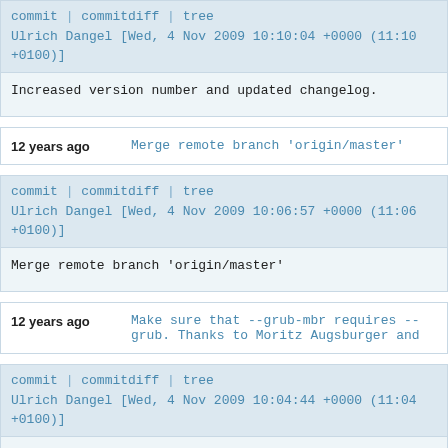commit | commitdiff | tree
Ulrich Dangel [Wed, 4 Nov 2009 10:10:04 +0000 (11:10 +0100)]
Increased version number and updated changelog.
12 years ago    Merge remote branch 'origin/master'
commit | commitdiff | tree
Ulrich Dangel [Wed, 4 Nov 2009 10:06:57 +0000 (11:06 +0100)]
Merge remote branch 'origin/master'
12 years ago    Make sure that --grub-mbr requires --grub. Thanks to Moritz Augsburger and
commit | commitdiff | tree
Ulrich Dangel [Wed, 4 Nov 2009 10:04:44 +0000 (11:04 +0100)]
Make sure that --grub-mbr requires --